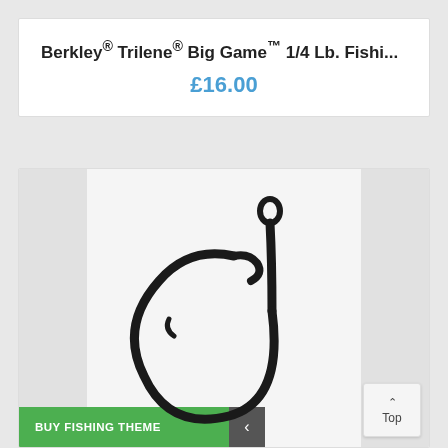Berkley® Trilene® Big Game™ 1/4 Lb. Fishi...
£16.00
[Figure (photo): Close-up photograph of a large black circle fishing hook (circle hook) against a white/light gray background, with gray side panels visible.]
BUY FISHING THEME